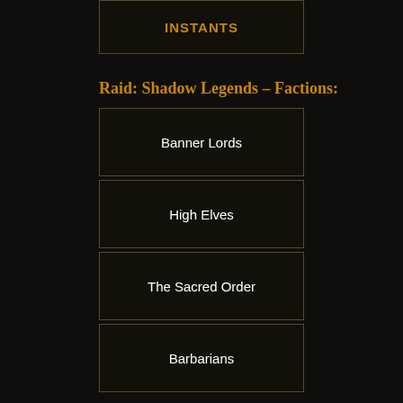INSTANTS
Raid: Shadow Legends – Factions:
Banner Lords
High Elves
The Sacred Order
Barbarians
Ogryn Tribes
Lizardmen
Skinwalkers